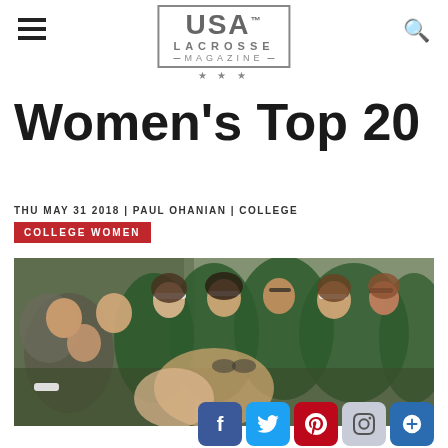USA Lacrosse Magazine
Women's Top 20
THU MAY 31 2018 | PAUL OHANIAN | COLLEGE
COLLEGE WOMEN
[Figure (photo): Group of female lacrosse players in green uniforms celebrating together, some wearing white headbands, laughing and hugging.]